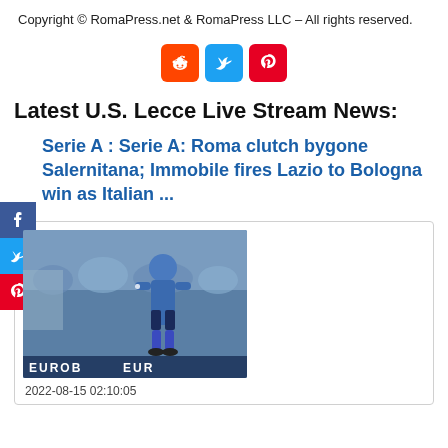Copyright © RomaPress.net & RomaPress LLC – All rights reserved.
[Figure (other): Social share icons: Reddit (orange), Twitter (blue), Pinterest (red)]
Latest U.S. Lecce Live Stream News:
[Figure (other): Sidebar social share buttons: Facebook (blue), Twitter (blue), Pinterest (red)]
Serie A : Serie A: Roma clutch bygone Salernitana; Immobile fires Lazio to Bologna win as Italian ...
[Figure (photo): Soccer player in blue jersey celebrating on field, with EUROB... banner visible at bottom]
2022-08-15 02:10:05